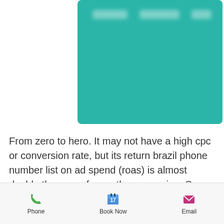[Figure (screenshot): Teal/green header banner with blurred navigation text]
From zero to hero. It may not have a high cpc or conversion rate, but its return brazil phone number list on ad spend (roas) is almost double the roas of any other campaign. So what does this actually tell us? Well, on the one hand, it's clear that campaign 4 attracts people who are much more likely to buy than people participating in any of the other campaigns. Campaign 3 might brazil phone number list generate a lot more traffic, but that traffic is much less likely to sign up for our lawyer friend's
Phone  Book Now  Email